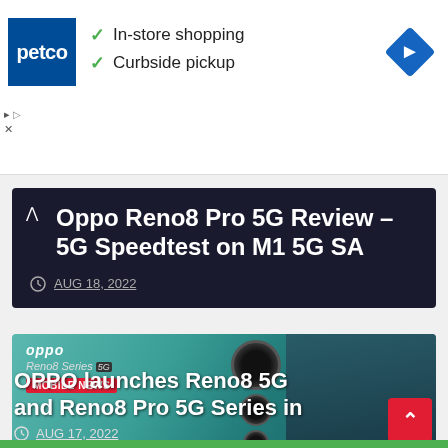[Figure (screenshot): Petco advertisement banner with logo, checkmarks for In-store shopping and Curbside pickup, and a navigation/maps icon]
✓ In-store shopping
✓ Curbside pickup
Oppo Reno8 Pro 5G Review – 5G Speedtest on M1 5G SA
AUG 18, 2022
[Figure (screenshot): OPPO Reno8 Series 5G promotional image showing phone camera and person, with MOBILE NEWS badge]
OPPO launches Reno8 5G and Reno8 Pro 5G Series in
AUG 17, 2022